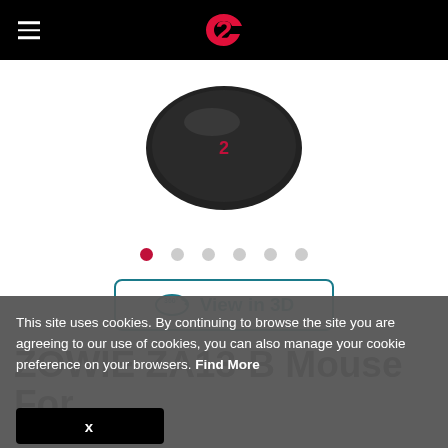ZOWIE logo navigation header
[Figure (photo): Top-down view of a dark/black gaming mouse (ZOWIE ZA13-B) with red ZOWIE logo on top, partially cropped at top of image area]
[Figure (other): Carousel navigation dots: 6 dots, first one filled red/active, rest grey]
[Figure (other): 360 degree View in 3D button with circular arrow icon]
ZOWIE ZA13-B Mouse For
This site uses cookies. By continuing to browse the site you are agreeing to our use of cookies, you can also manage your cookie preference on your browsers. Find More
X